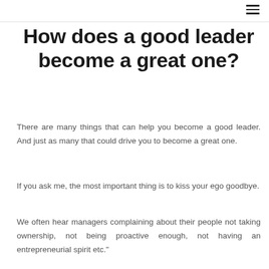☰
How does a good leader become a great one?
There are many things that can help you become a good leader. And just as many that could drive you to become a great one.
If you ask me, the most important thing is to kiss your ego goodbye.
We often hear managers complaining about their people not taking ownership, not being proactive enough, not having an entrepreneurial spirit etc."